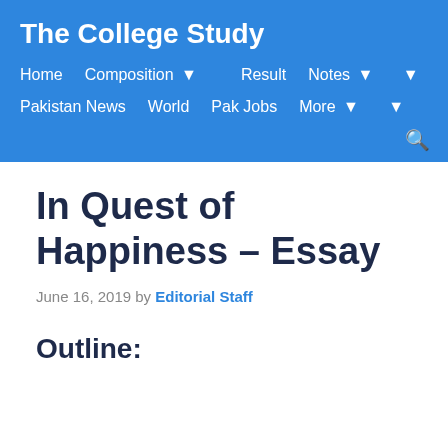The College Study
Home  Composition  Result  Notes  Pakistan News  World  Pak Jobs  More
In Quest of Happiness – Essay
June 16, 2019 by Editorial Staff
Outline: